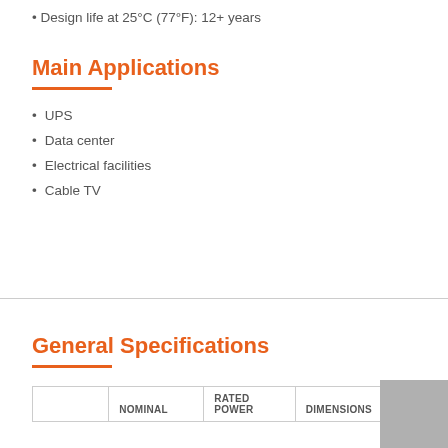Design life at 25°C (77°F): 12+ years
Main Applications
UPS
Data center
Electrical facilities
Cable TV
General Specifications
|  | NOMINAL | RATED POWER | DIMENSIONS |
| --- | --- | --- | --- |